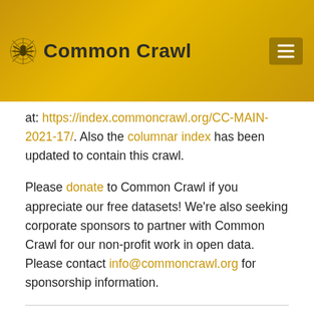Common Crawl
at: https://index.commoncrawl.org/CC-MAIN-2021-17/. Also the columnar index has been updated to contain this crawl.
Please donate to Common Crawl if you appreciate our free datasets! We're also seeking corporate sponsors to partner with Common Crawl for our non-profit work in open data. Please contact info@commoncrawl.org for sponsorship information.
February/March 2021 crawl archive now